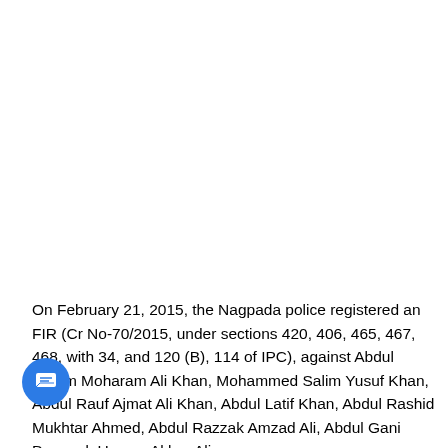On February 21, 2015, the Nagpada police registered an FIR (Cr No-70/2015, under sections 420, 406, 465, 467, 468, with 34, and 120 (B), 114 of IPC), against Abdul Rahim Moharam Ali Khan, Mohammed Salim Yusuf Khan, Abdul Rauf Ajmat Ali Khan, Abdul Latif Khan, Abdul Rashid Mukhtar Ahmed, Abdul Razzak Amzad Ali, Abdul Gani Dawood, Usman Akbar Ali